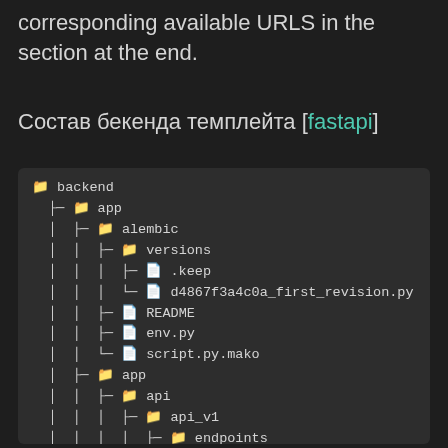corresponding available URLS in the section at the end.
Состав бекенда темплейта [fastapi]
[Figure (other): Directory tree structure of a backend fastapi template project showing folders: backend, app, alembic, versions with files .keep and d4867f3a4c0a_first_revision.py, README, env.py, script.py.mako, app, api, api_v1, endpoints, __init__.py]